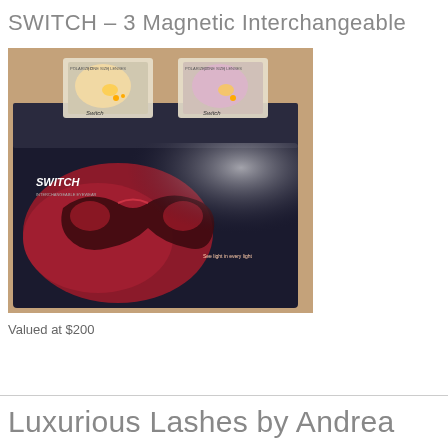SWITCH – 3 Magnetic Interchangeable
[Figure (photo): Photo of a SWITCH brand sunglasses set in an open box. The box has a dark background with a red metallic sunglasses graphic and text 'See light in every light'. Two smaller clear-packaged lens accessories are visible at the top of the box.]
Valued at $200
Luxurious Lashes by Andrea